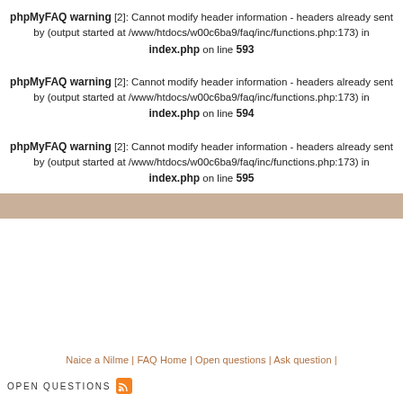phpMyFAQ warning [2]: Cannot modify header information - headers already sent by (output started at /www/htdocs/w00c6ba9/faq/inc/functions.php:173) in index.php on line 593
phpMyFAQ warning [2]: Cannot modify header information - headers already sent by (output started at /www/htdocs/w00c6ba9/faq/inc/functions.php:173) in index.php on line 594
phpMyFAQ warning [2]: Cannot modify header information - headers already sent by (output started at /www/htdocs/w00c6ba9/faq/inc/functions.php:173) in index.php on line 595
Naice a Nilme | FAQ Home | Open questions | Ask question |
Open questions